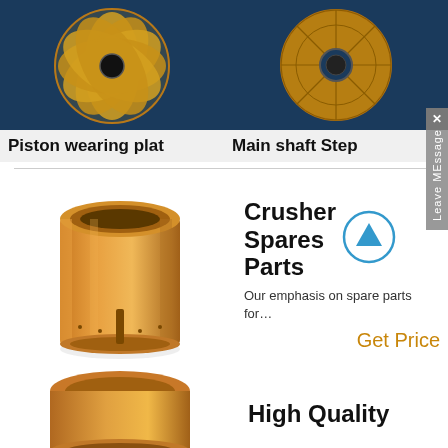[Figure (photo): Gold/brass piston wearing plate with flower petal pattern, circular, on dark blue background]
Piston wearing plat
[Figure (photo): Gold/copper main shaft step disc with grid pattern, circular, on dark blue background]
Main shaft Step
[Figure (photo): Copper/bronze cylindrical crusher bushing part on white background]
Crusher Spares Parts
Our emphasis on spare parts for…
Get Price
[Figure (photo): Copper/bronze ring/bushing crusher spare part on white background, partially visible at bottom]
High Quality